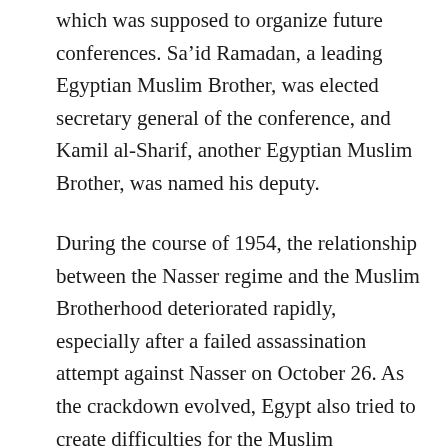which was supposed to organize future conferences. Sa’id Ramadan, a leading Egyptian Muslim Brother, was elected secretary general of the conference, and Kamil al-Sharif, another Egyptian Muslim Brother, was named his deputy.
During the course of 1954, the relationship between the Nasser regime and the Muslim Brotherhood deteriorated rapidly, especially after a failed assassination attempt against Nasser on October 26. As the crackdown evolved, Egypt also tried to create difficulties for the Muslim Brotherhood in Jordan, and especially in Jerusalem. Cairo pressured Amman to close the secretariat of the Islamic Congress, and when Sa’id Ramadan entered Jordan in April 1954, Jordanian